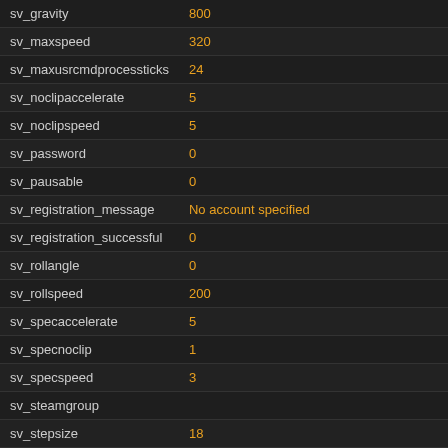| Parameter | Value |
| --- | --- |
| sv_gravity | 800 |
| sv_maxspeed | 320 |
| sv_maxusrcmdprocessticks | 24 |
| sv_noclipaccelerate | 5 |
| sv_noclipspeed | 5 |
| sv_password | 0 |
| sv_pausable | 0 |
| sv_registration_message | No account specified |
| sv_registration_successful | 0 |
| sv_rollangle | 0 |
| sv_rollspeed | 200 |
| sv_specaccelerate | 5 |
| sv_specnoclip | 1 |
| sv_specspeed | 3 |
| sv_steamgroup |  |
| sv_stepsize | 18 |
| sv_stopspeed | 100 |
| sv_tags | ctf,norespawntime,nocrits,alltalk,altfs,sourcega |
| sv_voiceenable | 1 |